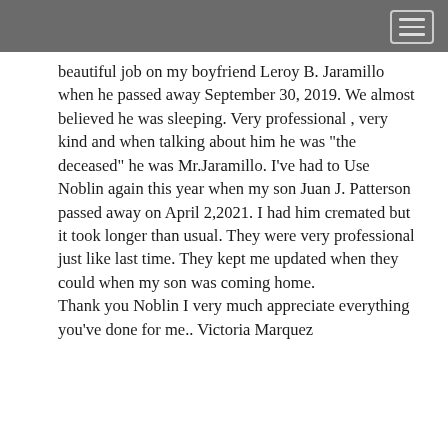beautiful job on my boyfriend Leroy B. Jaramillo when he passed away September 30, 2019. We almost believed he was sleeping. Very professional , very kind and when talking about him he was "the deceased" he was Mr.Jaramillo. I've had to Use Noblin again this year when my son Juan J. Patterson passed away on April 2,2021. I had him cremated but it took longer than usual. They were very professional just like last time. They kept me updated when they could when my son was coming home. Thank you Noblin I very much appreciate everything you've done for me.. Victoria Marquez